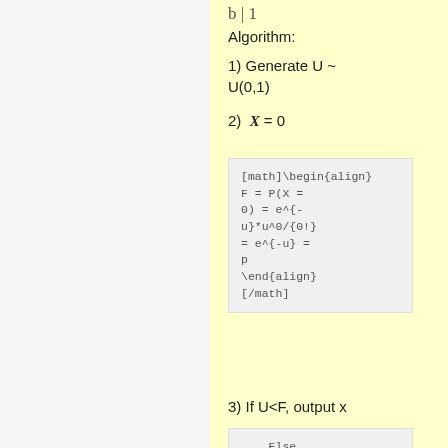b | 1
Algorithm:
1) Generate U ~ U(0,1)
2) X = 0
3) If U<F, output x